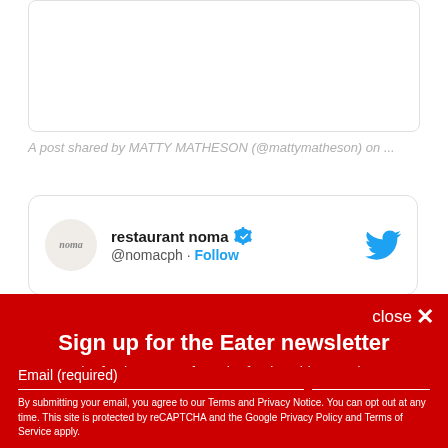A post shared by MATTY MATHESON (@mattymatheson) on ...
[Figure (screenshot): Twitter embed card showing restaurant noma account with verified badge, handle @nomacph and Follow link, with Twitter bird icon on the right]
Sign up for the Eater newsletter
The freshest news from the food world every day
Email (required)
SUBSCRIBE
By submitting your email, you agree to our Terms and Privacy Notice. You can opt out at any time. This site is protected by reCAPTCHA and the Google Privacy Policy and Terms of Service apply.